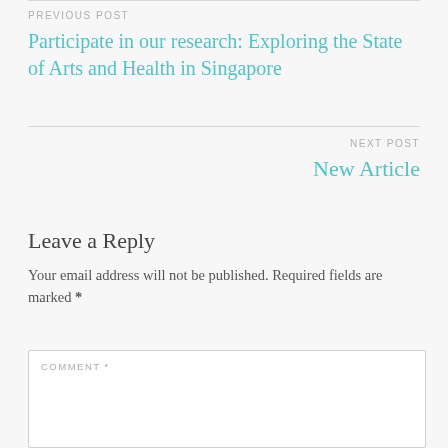PREVIOUS POST
Participate in our research: Exploring the State of Arts and Health in Singapore
NEXT POST
New Article
Leave a Reply
Your email address will not be published. Required fields are marked *
COMMENT *